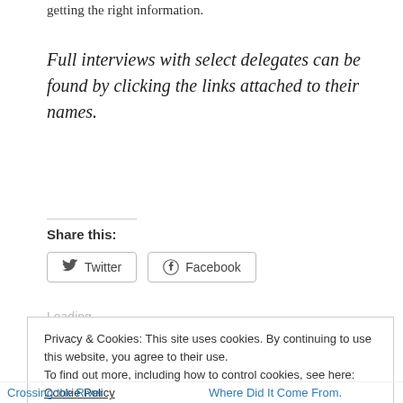getting the right information.
Full interviews with select delegates can be found by clicking the links attached to their names.
Share this:
Twitter
Facebook
Loading...
Privacy & Cookies: This site uses cookies. By continuing to use this website, you agree to their use.
To find out more, including how to control cookies, see here: Cookie Policy
Close and accept
Crossing the River
Where Did It Come From.